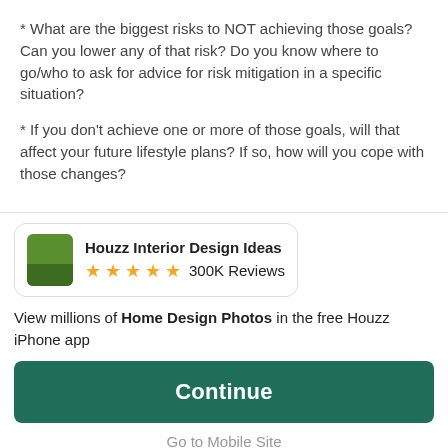* What are the biggest risks to NOT achieving those goals? Can you lower any of that risk? Do you know where to go/who to ask for advice for risk mitigation in a specific situation?
* If you don't achieve one or more of those goals, will that affect your future lifestyle plans? If so, how will you cope with those changes?
[Figure (other): Houzz Interior Design Ideas app card with green icon, 5 gold stars, and 300K Reviews]
View millions of Home Design Photos in the free Houzz iPhone app
Continue
Go to Mobile Site